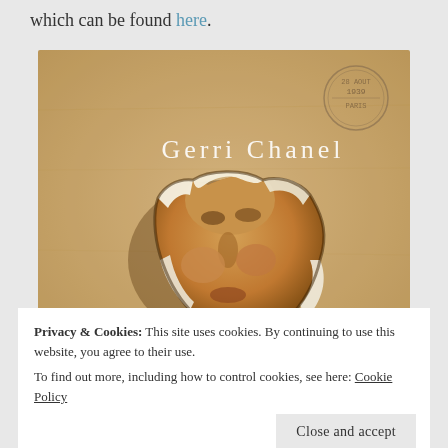which can be found here.
[Figure (illustration): Book cover for 'Gerri Chanel' showing a Mona Lisa face peeking through a torn paper hole on a vintage parchment background with a Paris postmark stamp in the upper right corner.]
Privacy & Cookies: This site uses cookies. By continuing to use this website, you agree to their use.
To find out more, including how to control cookies, see here: Cookie Policy
Close and accept